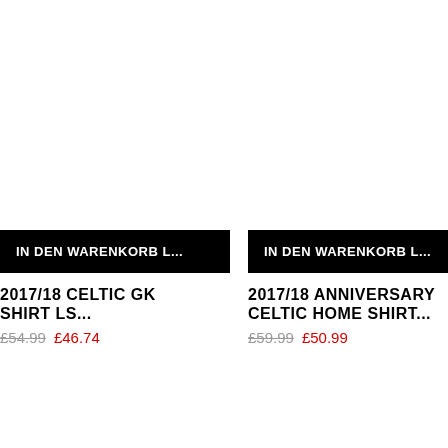IN DEN WARENKORB L...
2017/18 CELTIC GK SHIRT LS...
£54.99 £46.74
IN DEN WARENKORB L...
2017/18 ANNIVERSARY CELTIC HOME SHIRT...
£59.99 £50.99